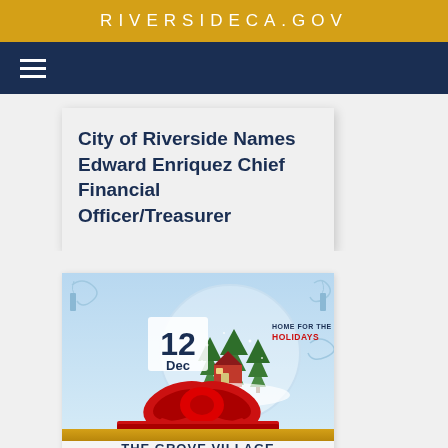RIVERSIDECA.GOV
City of Riverside Names Edward Enriquez Chief Financial Officer/Treasurer
[Figure (illustration): Home for the Holidays event graphic for The Grove Village Ribbon Cutting Ceremony, December 12. Shows a snowy winter scene with a house, Christmas trees, a large red ribbon bow, and decorative swirls. Text reads: HOME FOR THE HOLIDAYS, 12, Dec, THE GROVE VILLAGE, RIBBON CUTTING CEREMONY.]
Citywide
Homeless Families Going...